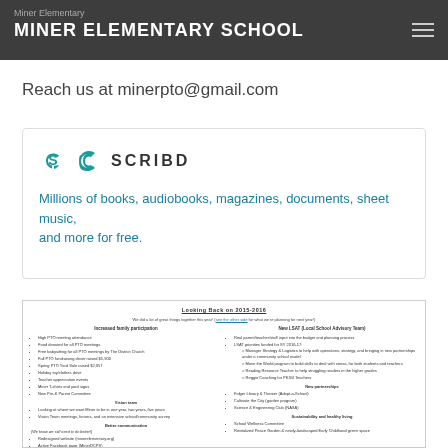MINER ELEMENTARY SCHOOL
Reach us at minerpto@gmail.com
[Figure (screenshot): Scribd promotional card with Scribd logo and text: Millions of books, audiobooks, magazines, documents, sheet music, and more for free.]
[Figure (screenshot): Document preview showing 'Looking Back on 2015-2016' with two columns listing school accomplishments including Increased family participation, Vision team, Better communication, New LSAT, and New partnerships sections.]